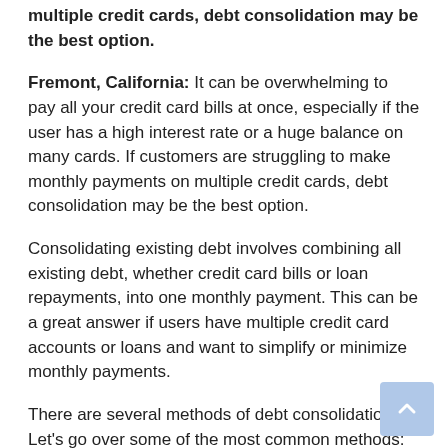multiple credit cards, debt consolidation may be the best option.
Fremont, California: It can be overwhelming to pay all your credit card bills at once, especially if the user has a high interest rate or a huge balance on many cards. If customers are struggling to make monthly payments on multiple credit cards, debt consolidation may be the best option.
Consolidating existing debt involves combining all existing debt, whether credit card bills or loan repayments, into one monthly payment. This can be a great answer if users have multiple credit card accounts or loans and want to simplify or minimize monthly payments.
There are several methods of debt consolidation. Let’s go over some of the most common methods:
Use a credit card with balance transfer
Balance transfer cards, which allow users to transfer high-